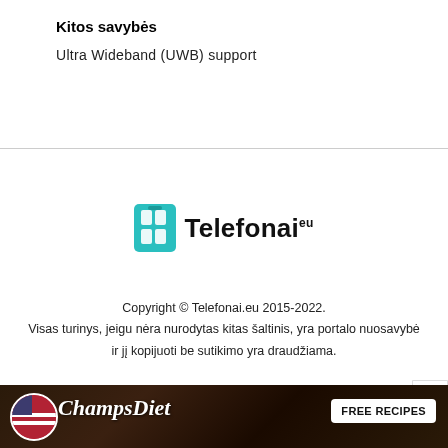Kitos savybės
Ultra Wideband (UWB) support
[Figure (logo): Telefonai.eu logo with teal book/phone icon and bold text 'Telefonai:']
Copyright © Telefonai.eu 2015-2022.
Visas turinys, jeigu nėra nurodytas kitas šaltinis, yra portalo nuosavybė ir jį kopijuoti be sutikimo yra draudžiama.
Pranešimai spaudai ir kita – press[eta]telefonai.eu.
[Figure (photo): Advertisement banner for ChampsDiet with food background and FREE RECIPES button]